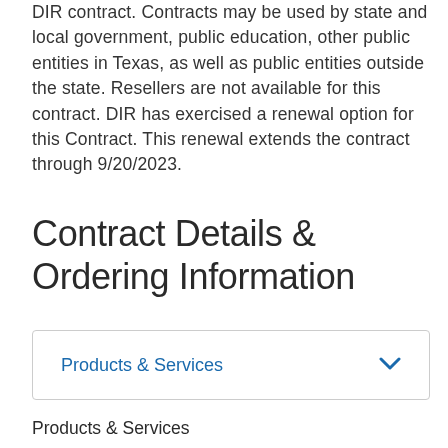DIR contract. Contracts may be used by state and local government, public education, other public entities in Texas, as well as public entities outside the state. Resellers are not available for this contract. DIR has exercised a renewal option for this Contract. This renewal extends the contract through 9/20/2023.
Contract Details & Ordering Information
Products & Services
Products & Services